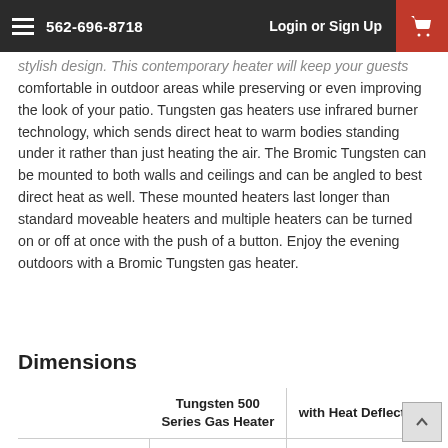562-696-8718   Login or Sign Up
stylish design. This contemporary heater will keep your guests comfortable in outdoor areas while preserving or even improving the look of your patio. Tungsten gas heaters use infrared burner technology, which sends direct heat to warm bodies standing under it rather than just heating the air. The Bromic Tungsten can be mounted to both walls and ceilings and can be angled to best direct heat as well. These mounted heaters last longer than standard moveable heaters and multiple heaters can be turned on or off at once with the push of a button. Enjoy the evening outdoors with a Bromic Tungsten gas heater.
Dimensions
|  | Tungsten 500 Series Gas Heater | with Heat Deflector |
| --- | --- | --- |
| Length | 25 3/8" | 29 3/4" |
| Width | 14" | 19 5/8" |